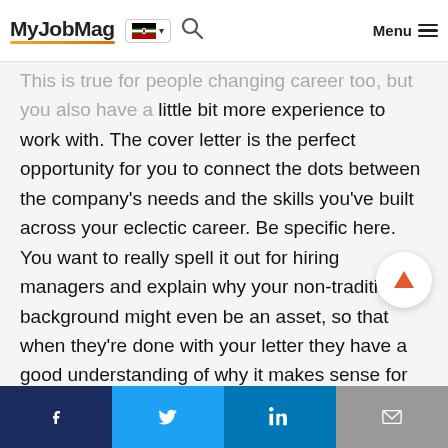MyJobMag
This is true for people changing career too, but you also have a little bit more experience to work with. The cover letter is the perfect opportunity for you to connect the dots between the company's needs and the skills you've built across your eclectic career. Be specific here. You want to really spell it out for hiring managers and explain why your non-traditional background might even be an asset, so that when they're done with your letter they have a good understanding of why it makes sense for them to hire you.
Facebook Twitter LinkedIn Email